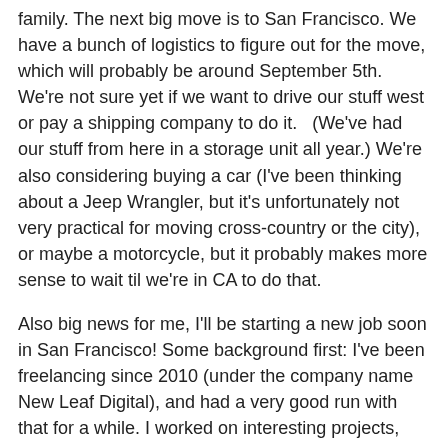family. The next big move is to San Francisco. We have a bunch of logistics to figure out for the move, which will probably be around September 5th. We're not sure yet if we want to drive our stuff west or pay a shipping company to do it.   (We've had our stuff from here in a storage unit all year.) We're also considering buying a car (I've been thinking about a Jeep Wrangler, but it's unfortunately not very practical for moving cross-country or the city), or maybe a motorcycle, but it probably makes more sense to wait til we're in CA to do that.
Also big news for me, I'll be starting a new job soon in San Francisco! Some background first: I've been freelancing since 2010 (under the company name New Leaf Digital), and had a very good run with that for a while. I worked on interesting projects, had the flexibility to set my own schedule, learn new technologies, go sailing in the middle of the day, and of course live in Argentina for a year (!), all while earning a pretty good living. But the technology I was specializing in for the first few years (Drupal) has gotten old and bloated and uninteresting, so I shifted my focus to a more promising up-and-coming technology (Node.js) last